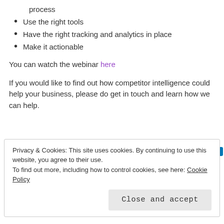process
Use the right tools
Have the right tracking and analytics in place
Make it actionable
You can watch the webinar here
If you would like to find out how competitor intelligence could help your business, please do get in touch and learn how we can help.
Privacy & Cookies: This site uses cookies. By continuing to use this website, you agree to their use.
To find out more, including how to control cookies, see here: Cookie Policy
Close and accept